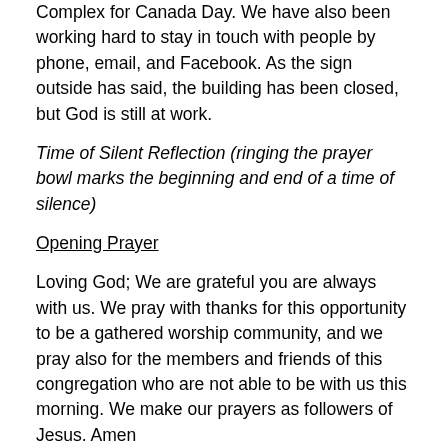Complex for Canada Day. We have also been working hard to stay in touch with people by phone, email, and Facebook. As the sign outside has said, the building has been closed, but God is still at work.
Time of Silent Reflection (ringing the prayer bowl marks the beginning and end of a time of silence)
Opening Prayer
Loving God; We are grateful you are always with us. We pray with thanks for this opportunity to be a gathered worship community, and we pray also for the members and friends of this congregation who are not able to be with us this morning. We make our prayers as followers of Jesus. Amen